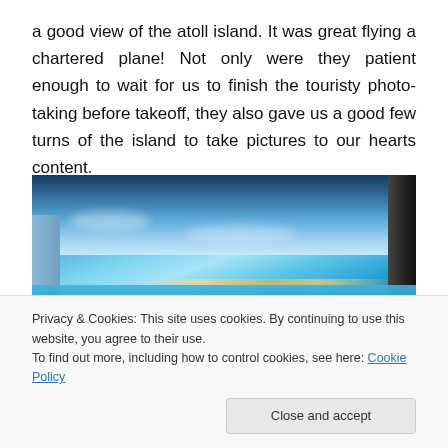a good view of the atoll island. It was great flying a chartered plane! Not only were they patient enough to wait for us to finish the touristy photo-taking before takeoff, they also gave us a good few turns of the island to take pictures to our hearts content.
[Figure (photo): Aerial view of an atoll island taken through a plane window, showing turquoise/blue ocean water and a thin strip of sandy island visible in the distance, with dark aircraft window frame on the right side.]
Privacy & Cookies: This site uses cookies. By continuing to use this website, you agree to their use.
To find out more, including how to control cookies, see here: Cookie Policy
[Close and accept]